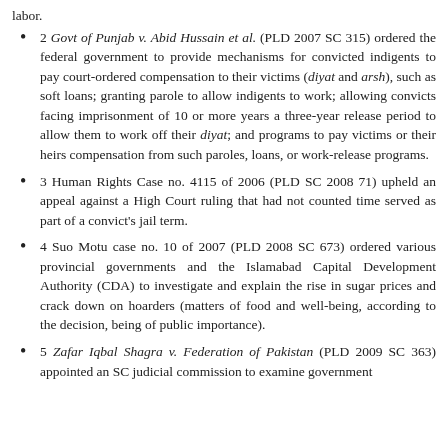labor.
2 Govt of Punjab v. Abid Hussain et al. (PLD 2007 SC 315) ordered the federal government to provide mechanisms for convicted indigents to pay court-ordered compensation to their victims (diyat and arsh), such as soft loans; granting parole to allow indigents to work; allowing convicts facing imprisonment of 10 or more years a three-year release period to allow them to work off their diyat; and programs to pay victims or their heirs compensation from such paroles, loans, or work-release programs.
3 Human Rights Case no. 4115 of 2006 (PLD SC 2008 71) upheld an appeal against a High Court ruling that had not counted time served as part of a convict's jail term.
4 Suo Motu case no. 10 of 2007 (PLD 2008 SC 673) ordered various provincial governments and the Islamabad Capital Development Authority (CDA) to investigate and explain the rise in sugar prices and crack down on hoarders (matters of food and well-being, according to the decision, being of public importance).
5 Zafar Iqbal Shagra v. Federation of Pakistan (PLD 2009 SC 363) appointed an SC judicial commission to examine government